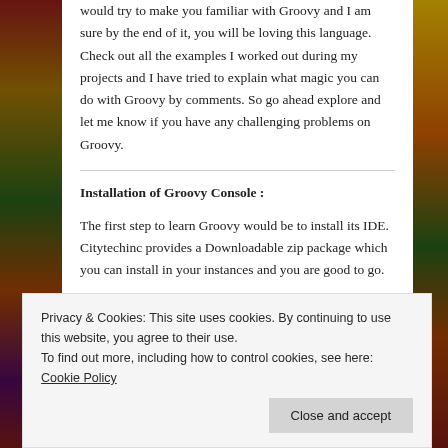would try to make you familiar with Groovy and I am sure by the end of it, you will be loving this language. Check out all the examples I worked out during my projects and I have tried to explain what magic you can do with Groovy by comments. So go ahead explore and let me know if you have any challenging problems on Groovy.
Installation of Groovy Console :
The first step to learn Groovy would be to install its IDE. Citytechinc provides a Downloadable zip package which you can install in your instances and you are good to go.
Privacy & Cookies: This site uses cookies. By continuing to use this website, you agree to their use.
To find out more, including how to control cookies, see here: Cookie Policy